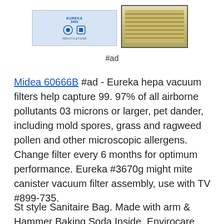[Figure (photo): Partial product image of a vacuum filter package and a vacuum canister unit, cropped at the top of the page]
#ad
Midea 60666B #ad - Eureka hepa vacuum filters help capture 99. 97% of all airborne pollutants 03 microns or larger, pet dander, including mold spores, grass and ragweed pollen and other microscopic allergens. Change filter every 6 months for optimum performance. Eureka #3670g might mite canister vacuum filter assembly, use with TV #899-735.
St style Sanitaire Bag. Made with arm & Hammer Baking Soda Inside. Envirocare premium aftermarket